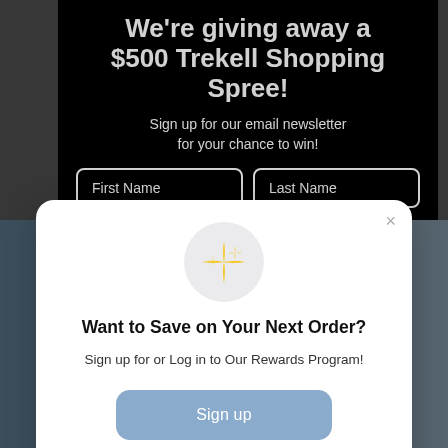We're giving away a $500 Trekell Shopping Spree!
Sign up for our email newsletter for your chance to win!
[Figure (screenshot): Two form input fields: First Name and Last Name with white rounded borders on black background]
[Figure (illustration): Sparkle/star emoji icon in a light gray circle]
Want to Save on Your Next Order?
Sign up for or Log in to Our Rewards Program!
Sign up
Already have an account? Sign in
Day 20 Winner: @alvidr3z